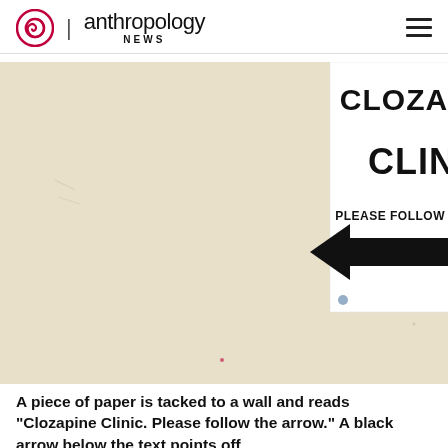anthropology NEWS
[Figure (photo): A photograph of a beige/cream-colored wall with a white paper sign tacked to it. The sign reads 'CLOZAPINE CLINIC' in large black letters, with smaller text 'PLEASE FOLLOW THE ARROW' and a large black arrow pointing to the left.]
A piece of paper is tacked to a wall and reads “Clozapine Clinic. Please follow the arrow.” A black arrow below the text points off